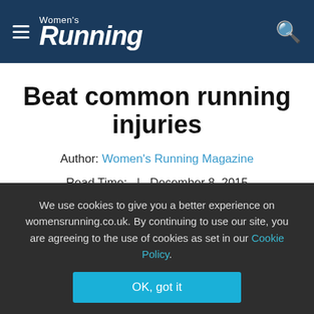Women's Running
Beat common running injuries
Author: Women's Running Magazine
Read Time:  |  December 8, 2015
ADVERTISEMENT
We use cookies to give you a better experience on womensrunning.co.uk. By continuing to use our site, you are agreeing to the use of cookies as set in our Cookie Policy.